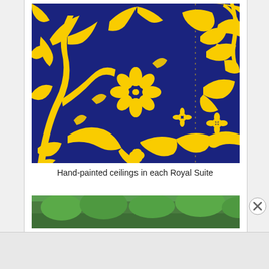[Figure (photo): Hand-painted ceiling with blue background and yellow/golden floral and vine patterns, photographed close-up in a Royal Suite]
Hand-painted ceilings in each Royal Suite
[Figure (photo): Partial view of a second photo showing green trees/foliage outdoors]
Advertisements